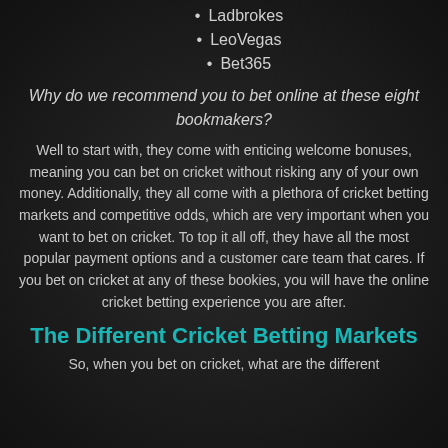Ladbrokes
LeoVegas
Bet365
Why do we recommend you to bet online at these eight bookmakers?
Well to start with, they come with enticing welcome bonuses, meaning you can bet on cricket without risking any of your own money. Additionally, they all come with a plethora of cricket betting markets and competitive odds, which are very important when you want to bet on cricket. To top it all off, they have all the most popular payment options and a customer care team that cares. If you bet on cricket at any of these bookies, you will have the online cricket betting experience you are after.
The Different Cricket Betting Markets
So, when you bet on cricket, what are the different